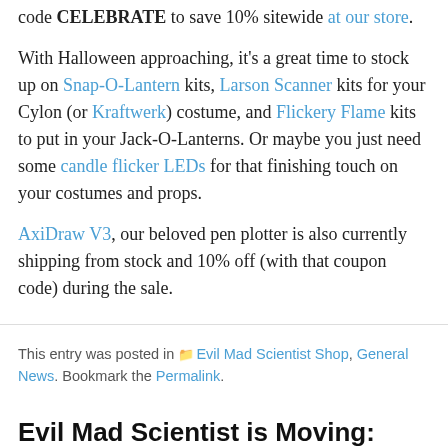code CELEBRATE to save 10% sitewide at our store.
With Halloween approaching, it's a great time to stock up on Snap-O-Lantern kits, Larson Scanner kits for your Cylon (or Kraftwerk) costume, and Flickery Flame kits to put in your Jack-O-Lanterns. Or maybe you just need some candle flicker LEDs for that finishing touch on your costumes and props.
AxiDraw V3, our beloved pen plotter is also currently shipping from stock and 10% off (with that coupon code) during the sale.
This entry was posted in Evil Mad Scientist Shop, General News. Bookmark the Permalink.
Evil Mad Scientist is Moving: Save the